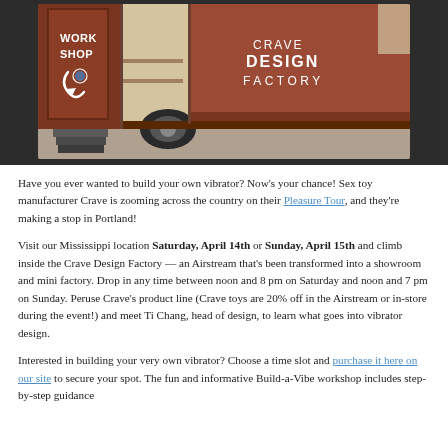[Figure (photo): Photo of a rust/brown-colored Airstream trailer with 'WORKSHOP' text on the door and 'CRAVE DESIGN FACTORY' text in white on the side. The trailer appears to be set up as a mobile showroom with steps leading up to an open door.]
Have you ever wanted to build your own vibrator? Now's your chance! Sex toy manufacturer Crave is zooming across the country on their Pleasure Tour, and they're making a stop in Portland!
Visit our Mississippi location Saturday, April 14th or Sunday, April 15th and climb inside the Crave Design Factory — an Airstream that's been transformed into a showroom and mini factory. Drop in any time between noon and 8 pm on Saturday and noon and 7 pm on Sunday. Peruse Crave's product line (Crave toys are 20% off in the Airstream or in-store during the event!) and meet Ti Chang, head of design, to learn what goes into vibrator design.
Interested in building your very own vibrator? Choose a time slot and purchase it here on our site to secure your spot. The fun and informative Build-a-Vibe workshop includes step-by-step guidance...